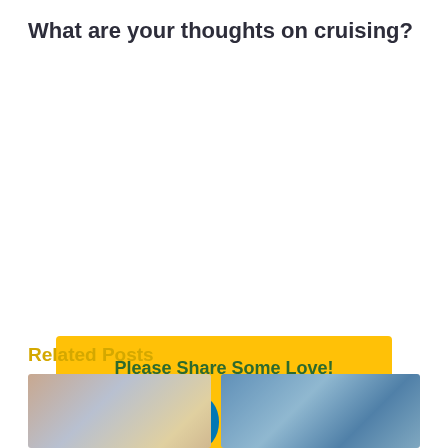What are your thoughts on cruising?
[Figure (infographic): Yellow social share box with heading 'Please Share Some Love!' and six social media icon circles: Facebook (dark blue), Twitter (light blue), LinkedIn (dark teal), WhatsApp (green), Pinterest (red), VK (slate blue)]
Related Posts
[Figure (photo): Thumbnail photo of a crowd of people at an event]
[Figure (photo): Thumbnail aerial photo of a coastal town with many boats]